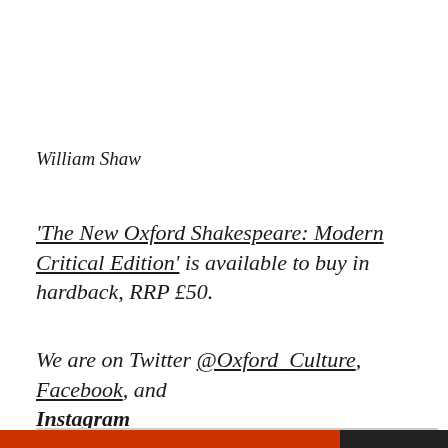William Shaw
'The New Oxford Shakespeare: Modern Critical Edition' is available to buy in hardback, RRP £50.
We are on Twitter @Oxford_Culture, Facebook, and Instagram
Privacy & Cookies: This site uses cookies. By continuing to use this website, you agree to their use.
To find out more, including how to control cookies, see here: Cookie Policy
Close and accept